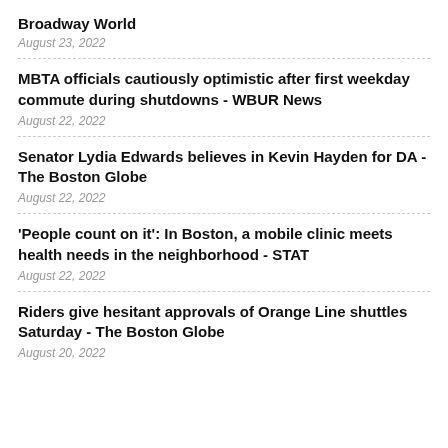Broadway World
August 23, 2022
MBTA officials cautiously optimistic after first weekday commute during shutdowns - WBUR News
August 22, 2022
Senator Lydia Edwards believes in Kevin Hayden for DA - The Boston Globe
August 22, 2022
'People count on it': In Boston, a mobile clinic meets health needs in the neighborhood - STAT
August 22, 2022
Riders give hesitant approvals of Orange Line shuttles Saturday - The Boston Globe
August 20, 2022